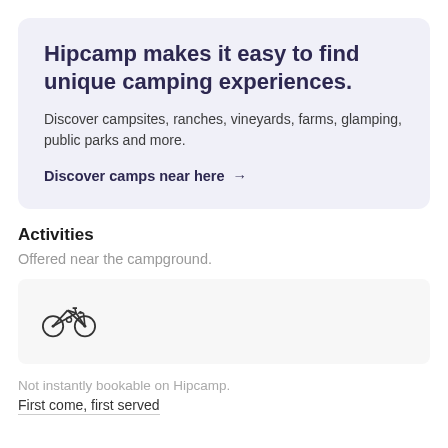Hipcamp makes it easy to find unique camping experiences.
Discover campsites, ranches, vineyards, farms, glamping, public parks and more.
Discover camps near here →
Activities
Offered near the campground.
[Figure (illustration): Bicycle icon — outline drawing of a road bicycle]
Not instantly bookable on Hipcamp.
First come, first served